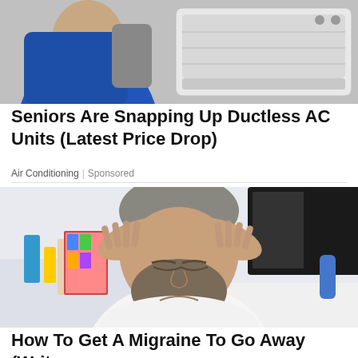[Figure (photo): Person in blue uniform working on a white ductless AC unit]
Seniors Are Snapping Up Ductless AC Units (Latest Price Drop)
Air Conditioning | Sponsored
[Figure (photo): Man with beard holding his head in hands, eyes closed, appearing to have a headache or migraine, sitting in front of a desk with monitor]
How To Get A Migraine To Go Away (Write